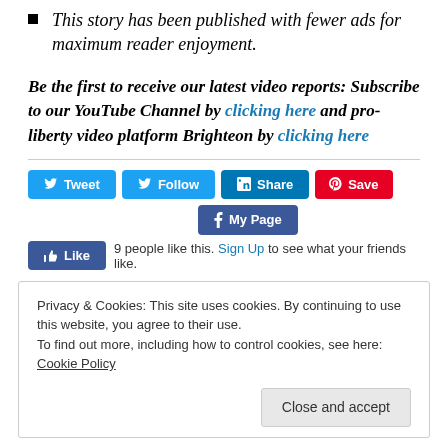This story has been published with fewer ads for maximum reader enjoyment.
Be the first to receive our latest video reports: Subscribe to our YouTube Channel by clicking here and pro-liberty video platform Brighteon by clicking here
[Figure (infographic): Social media sharing buttons: Tweet (Twitter), Follow (Twitter), Share (LinkedIn), Save (Pinterest), My Page (Facebook), Like (Facebook). Below: 9 people like this. Sign Up to see what your friends like.]
Privacy & Cookies: This site uses cookies. By continuing to use this website, you agree to their use. To find out more, including how to control cookies, see here: Cookie Policy
Close and accept